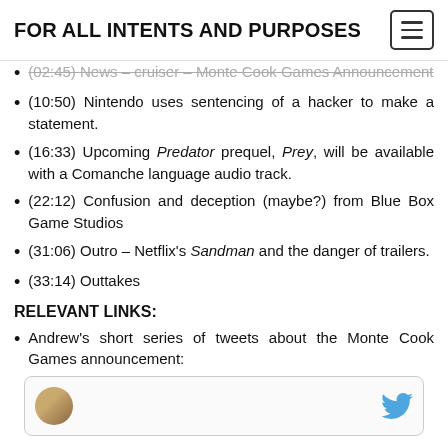FOR ALL INTENTS AND PURPOSES
(02:45) News – cruiser – Monte Cook Games Announcement
(10:50) Nintendo uses sentencing of a hacker to make a statement.
(16:33) Upcoming Predator prequel, Prey, will be available with a Comanche language audio track.
(22:12) Confusion and deception (maybe?) from Blue Box Game Studios
(31:06) Outro – Netflix's Sandman and the danger of trailers.
(33:14) Outtakes
RELEVANT LINKS:
Andrew's short series of tweets about the Monte Cook Games announcement:
[Figure (screenshot): Partial view of a tweet card showing an avatar/profile photo and Twitter bird icon]